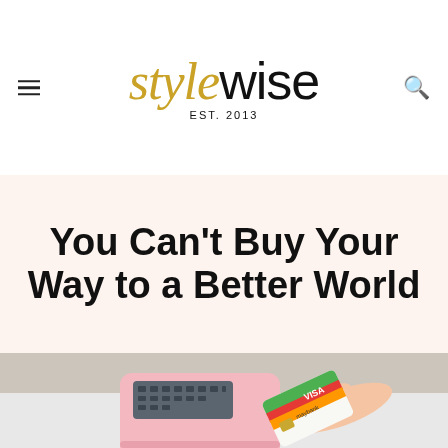stylewise EST. 2013
You Can't Buy Your Way to a Better World
[Figure (photo): A hand holding a Visa Maybank card being tapped or inserted into a pink card payment terminal on a white surface.]